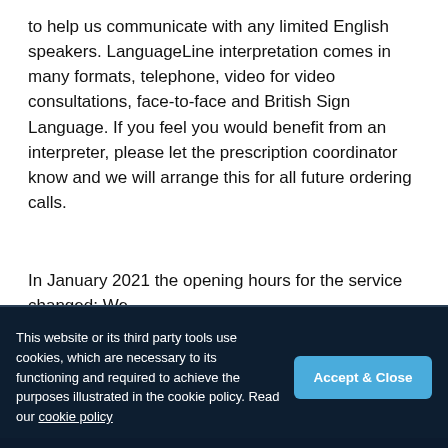to help us communicate with any limited English speakers. LanguageLine interpretation comes in many formats, telephone, video for video consultations, face-to-face and British Sign Language. If you feel you would benefit from an interpreter, please let the prescription coordinator know and we will arrange this for all future ordering calls.
Opening hours
In January 2021 the opening hours for the service changed: We
This website or its third party tools use cookies, which are necessary to its functioning and required to achieve the purposes illustrated in the cookie policy. Read our cookie policy